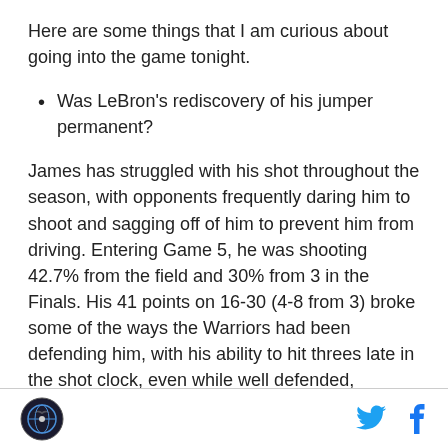Here are some things that I am curious about going into the game tonight.
Was LeBron's rediscovery of his jumper permanent?
James has struggled with his shot throughout the season, with opponents frequently daring him to shoot and sagging off of him to prevent him from driving. Entering Game 5, he was shooting 42.7% from the field and 30% from 3 in the Finals. His 41 points on 16-30 (4-8 from 3) broke some of the ways the Warriors had been defending him, with his ability to hit threes late in the shot clock, even while well defended,
Logo and social media icons